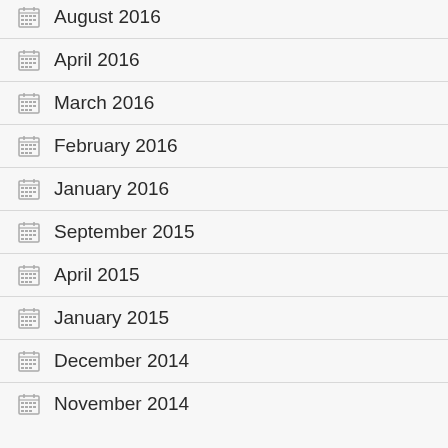August 2016
April 2016
March 2016
February 2016
January 2016
September 2015
April 2015
January 2015
December 2014
November 2014